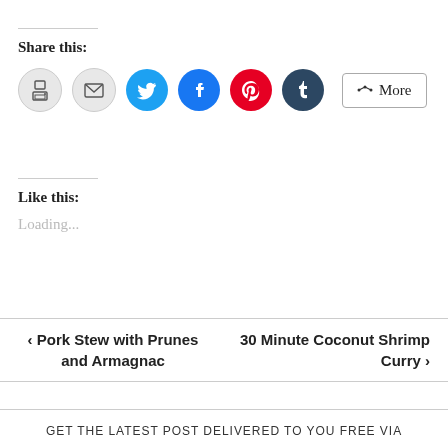Share this:
[Figure (other): Social share icons: print, email, Twitter, Facebook, Pinterest, Tumblr, and a More button]
Like this:
Loading...
< Pork Stew with Prunes and Armagnac
30 Minute Coconut Shrimp Curry >
GET THE LATEST POST DELIVERED TO YOU FREE VIA